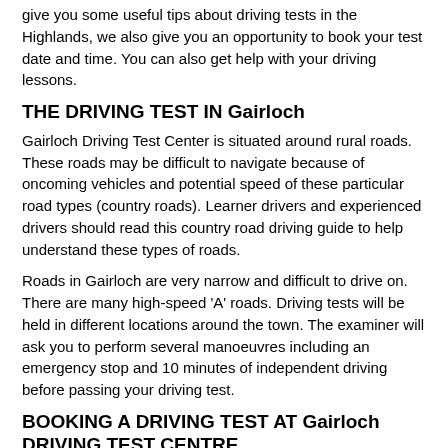give you some useful tips about driving tests in the Highlands, we also give you an opportunity to book your test date and time. You can also get help with your driving lessons.
THE DRIVING TEST IN Gairloch
Gairloch Driving Test Center is situated around rural roads. These roads may be difficult to navigate because of oncoming vehicles and potential speed of these particular road types (country roads). Learner drivers and experienced drivers should read this country road driving guide to help understand these types of roads.
Roads in Gairloch are very narrow and difficult to drive on. There are many high-speed 'A' roads. Driving tests will be held in different locations around the town. The examiner will ask you to perform several manoeuvres including an emergency stop and 10 minutes of independent driving before passing your driving test.
BOOKING A DRIVING TEST AT Gairloch DRIVING TEST CENTRE
You can book a driving test online or over the phone. You can also book a driving test at a specific location.
[Figure (logo): WhatsApp green circle logo with phone handset icon]
Booking a driving test online is a convenient way to book a test at Gairloch Driving Test Centre. You can select a date and time that suits you. Cancellations can be scheduled using our booking...